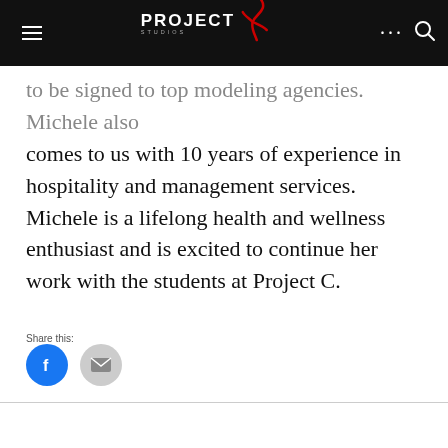PROJECT STUDIOS
to be signed to top modeling agencies. Michele also comes to us with 10 years of experience in hospitality and management services. Michele is a lifelong health and wellness enthusiast and is excited to continue her work with the students at Project C.
Share this:
[Figure (other): Facebook and Email share buttons]